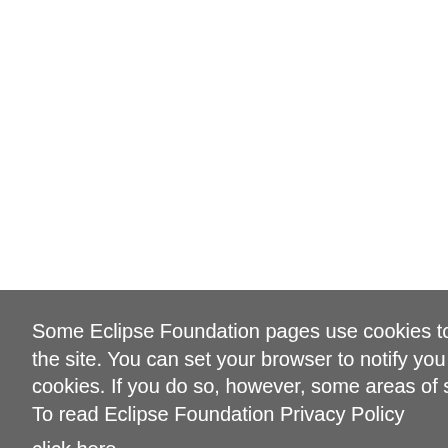|  | Product | Versions | Status | Notes |
| --- | --- | --- | --- | --- |
|  | Passage | >= 1.2.0 && <= 2.2.0 | Vulnerable | The risk of exposure is negligible. Tools containing runtimes should be updated to newer versions of Passage. Passage Download |
|  | Eclipse Packaging Project (Eclipse IDE for ...) | Not Vulnerable / Vulnerable | All packages available are not vulnerable, except for developers which are containing Passage Packaging support in an IDE https://download.e... to Window → Preferences and using Help → the version of Passage logs the version of log4j2. |
|  | Eclipse Installer | *.* | Not Vulnerable | Does not use log4j. When installing the Eclipse Installer, dynamically loaded. When installing any version of Eclipse, Developers will install a version of log4j2, i.e., >= 2... |
|  |  |  | Not |  |
Some Eclipse Foundation pages use cookies to better serve you when you return to the site. You can set your browser to notify you before you receive a cookie or turn off cookies. If you do so, however, some areas of some sites may not function properly. To read Eclipse Foundation Privacy Policy click here.